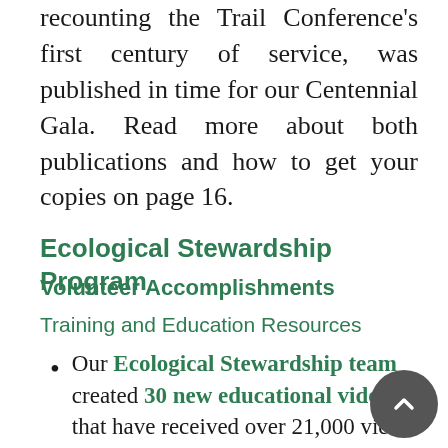100th anniversary book recounting the Trail Conference's first century of service, was published in time for our Centennial Gala. Read more about both publications and how to get your copies on page 16.
Ecological Stewardship Program
Volunteer Accomplishments
Training and Education Resources
Our Ecological Stewardship team created 30 new educational videos that have received over 21,000 views on